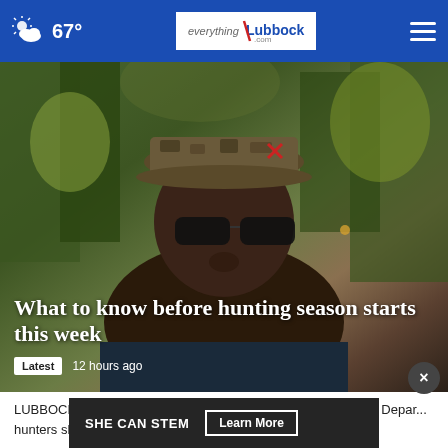67° everything/Lubbock.com
[Figure (photo): A man wearing camouflage cap and sunglasses in an outdoor hunting setting with trees in the background]
What to know before hunting season starts this week
Latest  12 hours ago
LUBBOCK, Texas– With Dove Hunting Season starting Thurs... Depar... hunters should prepare. "September 1st is a big day
[Figure (infographic): Ad banner: SHE CAN STEM  Learn More]